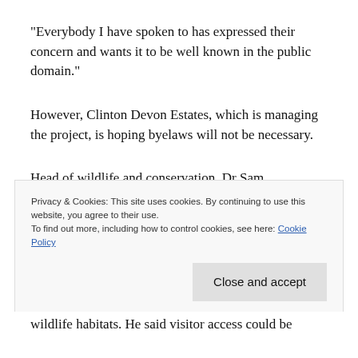“Everybody I have spoken to has expressed their concern and wants it to be well known in the public domain.”
However, Clinton Devon Estates, which is managing the project, is hoping byelaws will not be necessary.
Head of wildlife and conservation, Dr Sam Bridgewater, said there had been discussions with FDDC on the issue, and byelaws are not
Privacy & Cookies: This site uses cookies. By continuing to use this website, you agree to their use. To find out more, including how to control cookies, see here: Cookie Policy
wildlife habitats. He said visitor access could be